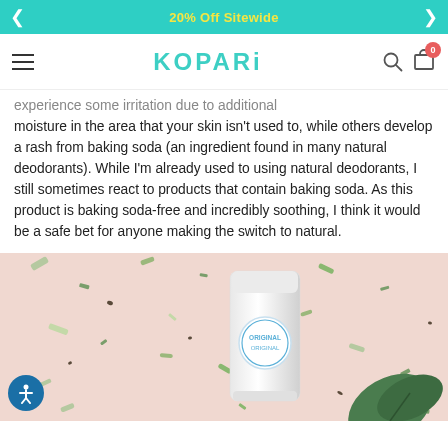20% Off Sitewide
KOPARI
experience some irritation due to additional moisture in the area that your skin isn't used to, while others develop a rash from baking soda (an ingredient found in many natural deodorants). While I'm already used to using natural deodorants, I still sometimes react to products that contain baking soda. As this product is baking soda-free and incredibly soothing, I think it would be a safe bet for anyone making the switch to natural.
[Figure (photo): A white deodorant stick with a circular blue logo labeled 'Original', photographed on a pink terrazzo-style surface scattered with dried herbs and green leaves, with a plant partially visible on the right side.]